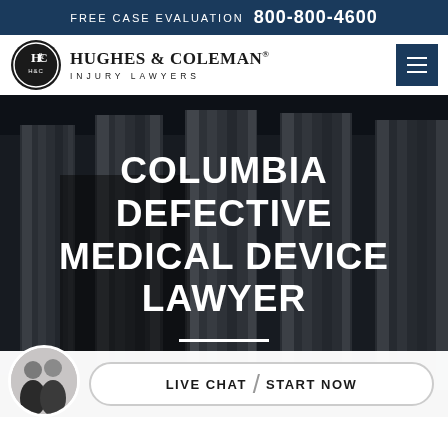FREE CASE EVALUATION  800-800-4600
[Figure (logo): Hughes & Coleman Injury Lawyers logo with H&C emblem in oval and firm name]
COLUMBIA DEFECTIVE MEDICAL DEVICE LAWYER
[Figure (photo): Black and white photo of large stone courthouse columns in the background]
LIVE CHAT  |  START NOW